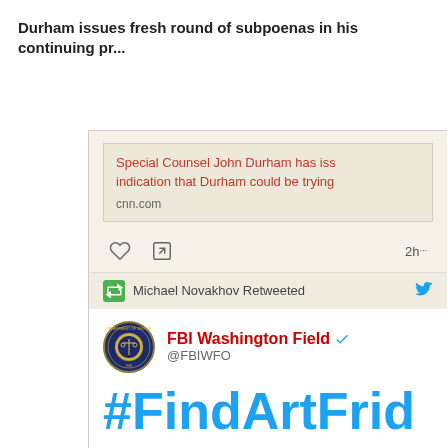Durham issues fresh round of subpoenas in his continuing pr...
[Figure (screenshot): Screenshot of a Twitter/social media feed showing two tweets. First tweet has a link block with red text: 'Special Counsel John Durham has iss... indication that Durham could be trying' and URL 'cnn.com', with like and retweet icons and '2h' timestamp. Second tweet shows 'Michael Novakhov Retweeted' with FBI Washington Field (@FBIWFO) account posting '#FindArtFriday: Help the']
Special Counsel John Durham has iss... indication that Durham could be trying
cnn.com
Michael Novakhov Retweeted
FBI Washington Field @FBIWFO
#FindArtFriday: Help the